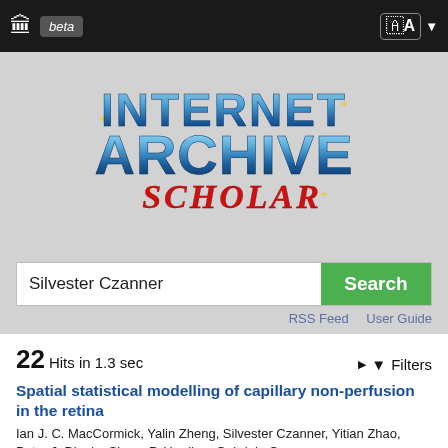Internet Archive Scholar - beta
[Figure (logo): Internet Archive Scholar logo on grey background with retro blue metallic text and red cursive 'Scholar' subtitle]
Silvester Czanner [Search]
RSS Feed  User Guide
22 Hits in 1.3 sec
▶ 🔽 Filters
Spatial statistical modelling of capillary non-perfusion in the retina
Ian J. C. MacCormick, Yalin Zheng, Silvester Czanner, Yitian Zhao, Peter J. Diggle, Simon P. Harding, Gabriela Czanner
2017 Scientific Reports
Manual grading of lesions in retinal images is relevant to clinical